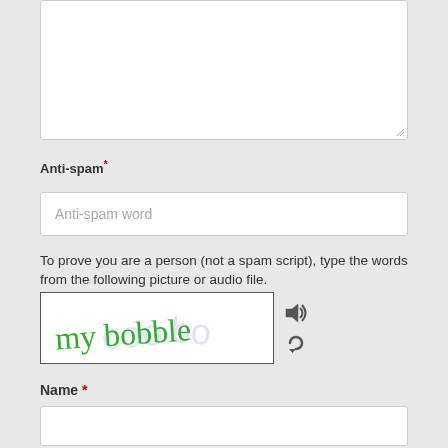[Figure (screenshot): Textarea input box (empty, resizable)]
Anti-spam*
[Figure (screenshot): Anti-spam word input field with placeholder text]
To prove you are a person (not a spam script), type the words from the following picture or audio file.
[Figure (screenshot): CAPTCHA image showing handwritten words 'my bobble' in green on white background with audio and refresh icons]
Name *
[Figure (screenshot): Name text input field (empty)]